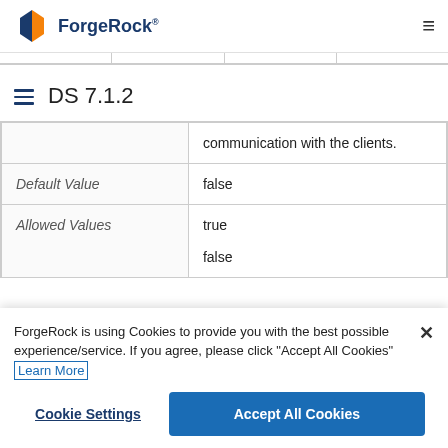ForgeRock
DS 7.1.2
|  | communication with the clients. |
| Default Value | false |
| Allowed Values | true
false |
ForgeRock is using Cookies to provide you with the best possible experience/service. If you agree, please click "Accept All Cookies" Learn More